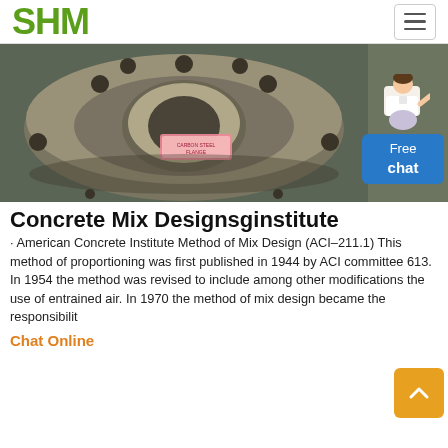SHM
[Figure (photo): A large metal pipe flange with bolt holes, sitting on a workshop surface, with a pink label tag attached. The flange is heavy-duty, dark-colored steel.]
Concrete Mix Designsginstitute
· American Concrete Institute Method of Mix Design (ACI–211.1) This method of proportioning was first published in 1944 by ACI committee 613. In 1954 the method was revised to include among other modifications the use of entrained air. In 1970 the method of mix design became the responsibilit
Chat Online